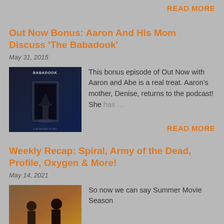READ MORE
Out Now Bonus: Aaron And His Mom Discuss 'The Babadook'
May 31, 2015
[Figure (photo): Dark moody poster image for The Babadook movie]
This bonus episode of Out Now with Aaron and Abe is a real treat. Aaron's mother, Denise, returns to the podcast! She has …
READ MORE
Weekly Recap: Spiral, Army of the Dead, Profile, Oxygen & More!
May 14, 2021
[Figure (photo): Movie still with warm desert tones]
So now we can say Summer Movie Season